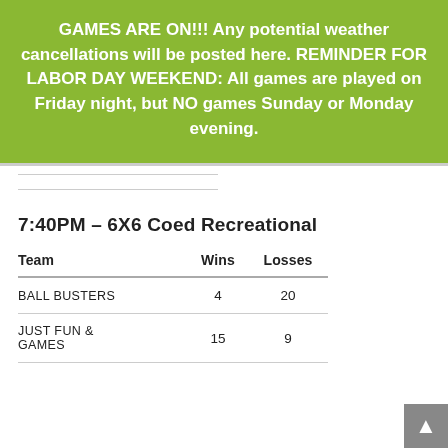GAMES ARE ON!!! Any potential weather cancellations will be posted here. REMINDER FOR LABOR DAY WEEKEND: All games are played on Friday night, but NO games Sunday or Monday evening.
7:40PM – 6X6 Coed Recreational
| Team | Wins | Losses |
| --- | --- | --- |
| BALL BUSTERS | 4 | 20 |
| JUST FUN & GAMES | 15 | 9 |